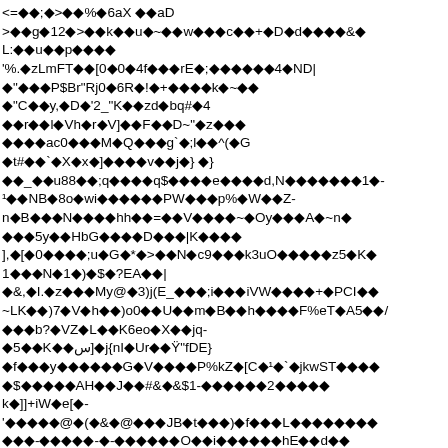Corrupted/encoded binary text content displayed as diamond replacement characters mixed with ASCII characters across approximately 24 lines of text.